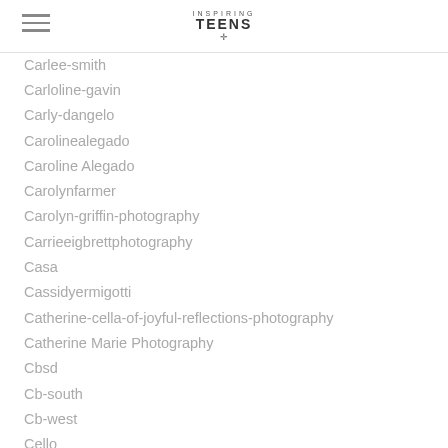Inspiring Teens
Carlee-smith
Carloline-gavin
Carly-dangelo
Carolinealegado
Caroline Alegado
Carolynfarmer
Carolyn-griffin-photography
Carrieeigbrettphotography
Casa
Cassidyermigotti
Catherine-cella-of-joyful-reflections-photography
Catherine Marie Photography
Cbsd
Cb-south
Cb-west
Cello
Central Bucks
Central-bucks-school-district